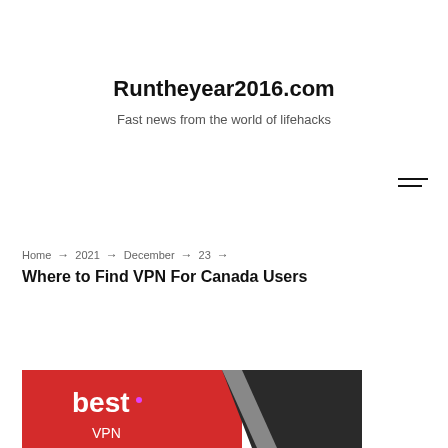Runtheyear2016.com
Fast news from the world of lifehacks
Home → 2021 → December → 23 →
Where to Find VPN For Canada Users
[Figure (illustration): Best VPN promotional banner with red and dark background showing 'best VPN' text]